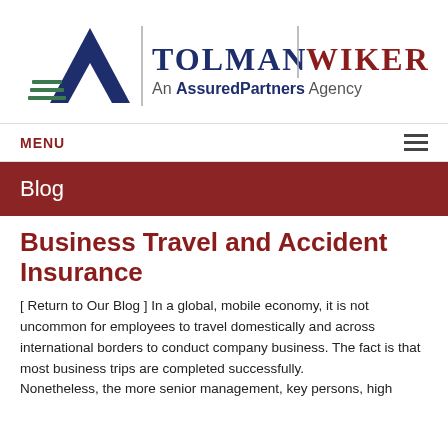[Figure (logo): Tolman Wiker - An AssuredPartners Agency logo with navy blue letter A and green horizontal lines on left, vertical dividers, and dark red company name text]
MENU
Blog
Business Travel and Accident Insurance
[ Return to Our Blog ] In a global, mobile economy, it is not uncommon for employees to travel domestically and across international borders to conduct company business. The fact is that most business trips are completed successfully.
Nonetheless, the more senior management, key persons, high